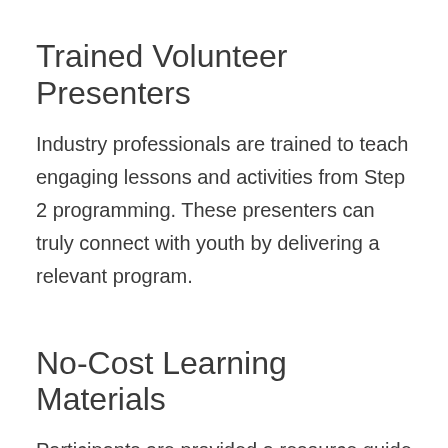Trained Volunteer Presenters
Industry professionals are trained to teach engaging lessons and activities from Step 2 programming. These presenters can truly connect with youth by delivering a relevant program.
No-Cost Learning Materials
Participants are provided a resource guide filled with valuable financial lessons to use during sessions and to take home for continued learning and application. All materials are provided at no cost to schools or